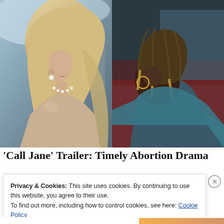[Figure (photo): Two movie stills side by side: left shows a blonde woman in profile wearing a pearl necklace and tan outfit; right shows a Black woman with braids wearing a teal outfit, photographed from behind/side in low light.]
'Call Jane' Trailer: Timely Abortion Drama
Privacy & Cookies: This site uses cookies. By continuing to use this website, you agree to their use.
To find out more, including how to control cookies, see here: Cookie Policy
Close and accept